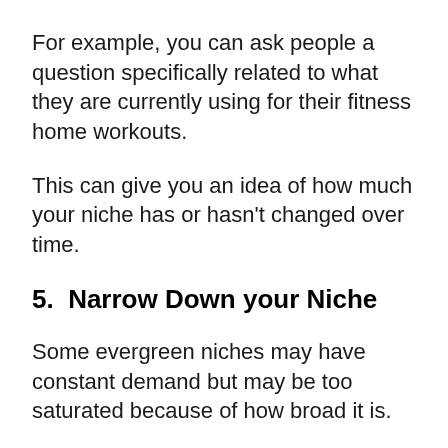For example, you can ask people a question specifically related to what they are currently using for their fitness home workouts.
This can give you an idea of how much your niche has or hasn't changed over time.
5.  Narrow Down your Niche
Some evergreen niches may have constant demand but may be too saturated because of how broad it is.
The more broad it is, the more competition you will have.